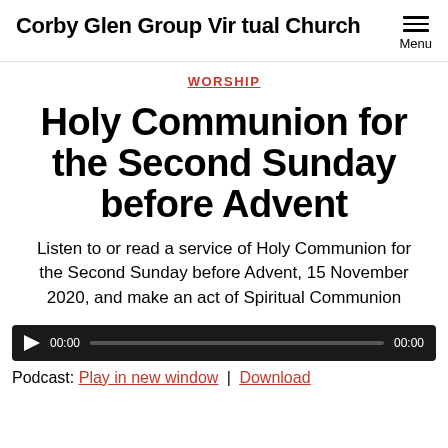Corby Glen Group Virtual Church
WORSHIP
Holy Communion for the Second Sunday before Advent
Listen to or read a service of Holy Communion for the Second Sunday before Advent, 15 November 2020, and make an act of Spiritual Communion
[Figure (other): Audio player with play button, time 00:00, progress bar, and end time 00:00]
Podcast: Play in new window | Download